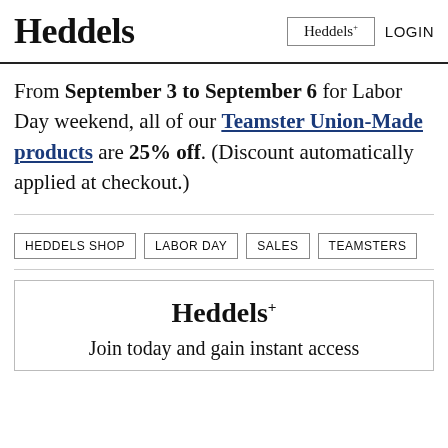Heddels | Heddels+ | LOGIN
From September 3 to September 6 for Labor Day weekend, all of our Teamster Union-Made products are 25% off. (Discount automatically applied at checkout.)
HEDDELS SHOP
LABOR DAY
SALES
TEAMSTERS
Heddels+ Join today and gain instant access